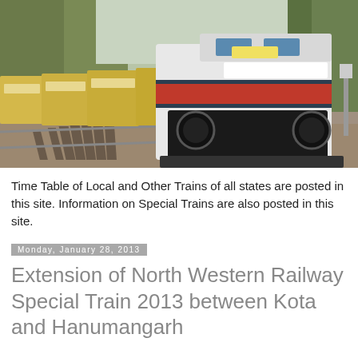[Figure (photo): A photograph of an Indian Railway train locomotive (white with red stripe) approaching on tracks, with yellow passenger coaches behind it, surrounded by trees and gravel.]
Time Table of Local and Other Trains of all states are posted in this site. Information on Special Trains are also posted in this site.
Monday, January 28, 2013
Extension of North Western Railway Special Train 2013 between Kota and Hanumangarh